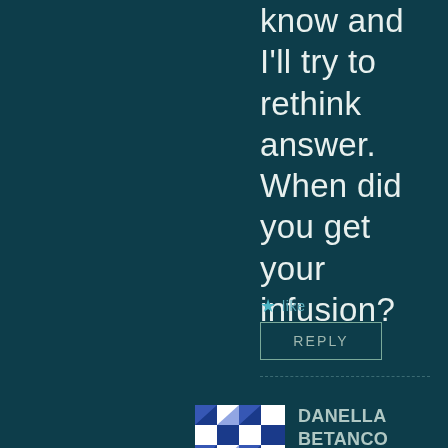know and I'll try to rethink answer. When did you get your infusion?
★ like
REPLY
[Figure (illustration): Blue and white geometric quilt pattern avatar for user DANELLA BETANCO]
DANELLA BETANCO